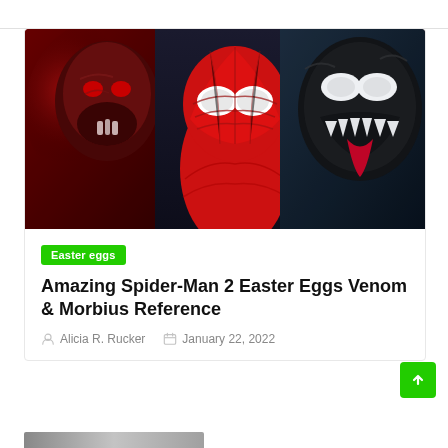[Figure (photo): Composite hero image showing three Marvel/Sony characters side by side: Morbius (left, red-tinted vampire face with fangs and glowing red eyes), Spider-Man (center, red and blue suit with white lenses), and Venom (right, black alien symbiote with large white eyes and sharp teeth/tongue visible)]
Easter eggs
Amazing Spider-Man 2 Easter Eggs Venom & Morbius Reference
Alicia R. Rucker   January 22, 2022